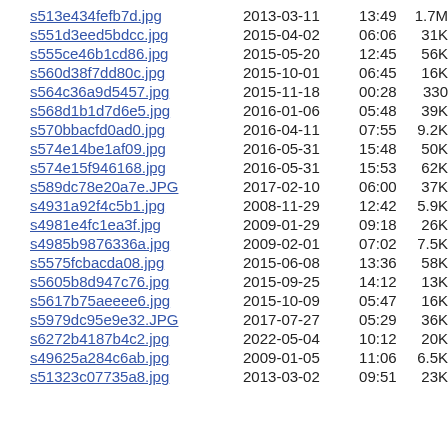s513e434fefb7d.jpg  2013-03-11 13:49  1.7M
s551d3eed5bdcc.jpg  2015-04-02 06:06  31K
s555ce46b1cd86.jpg  2015-05-20 12:45  56K
s560d38f7dd80c.jpg  2015-10-01 06:45  16K
s564c36a9d5457.jpg  2015-11-18 00:28  330
s568d1b1d7d6e5.jpg  2016-01-06 05:48  39K
s570bbacfd0ad0.jpg  2016-04-11 07:55  9.2K
s574e14be1af09.jpg  2016-05-31 15:48  50K
s574e15f946168.jpg  2016-05-31 15:53  62K
s589dc78e20a7e.JPG  2017-02-10 06:00  37K
s4931a92f4c5b1.jpg  2008-11-29 12:42  5.9K
s4981e4fc1ea3f.jpg  2009-01-29 09:18  26K
s4985b9876336a.jpg  2009-02-01 07:02  7.5K
s5575fcbacda08.jpg  2015-06-08 13:36  58K
s5605b8d947c76.jpg  2015-09-25 14:12  13K
s5617b75aeeee6.jpg  2015-10-09 05:47  16K
s5979dc95e9e32.JPG  2017-07-27 05:29  36K
s6272b4187b4c2.jpg  2022-05-04 10:12  20K
s49625a284c6ab.jpg  2009-01-05 11:06  6.5K
s51323c07735a8.jpg  2013-03-02 09:51  23K